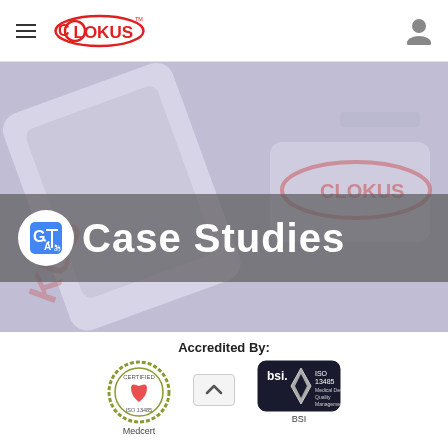LOKUS — navigation header with hamburger menu, logo, and user icon
[Figure (screenshot): Hero banner image showing Lokus branded packaging products (tubes/boxes) with a semi-transparent gray overlay band containing the text 'Case Studies' in large white bold font, and a Google Translate icon (circular white button with G and translate arrows) on the left side of the banner.]
Case Studies
Accredited By:
[Figure (logo): MedCert certification logo — circular green/olive bordered seal with text 'CERTIFIED', 'MEDCERT', 'ISO 13485' inside]
Medcert
[Figure (logo): BSI certification logo — rectangular badge with BSI text, diamond/kite shape, ISO 13485 Medical Device Quality Management text]
BSI